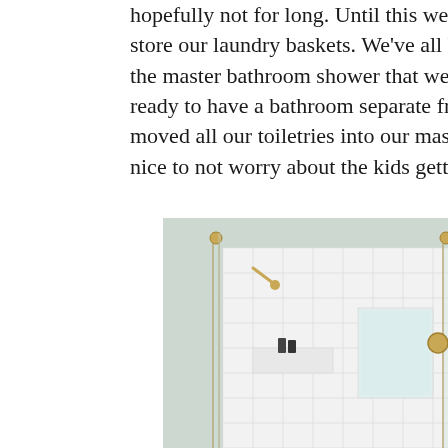hopefully not for long. Until this week, we didn't use this store our laundry baskets. We've all been sharing the hal the master bathroom shower that we have yet to repair. I ready to have a bathroom separate from my kids. I cleane moved all our toiletries into our master bath. Even thoug nice to not worry about the kids getting into my hair prod
[Figure (photo): Master bathroom interior showing a glass-enclosed shower with white subway tiles and gold/brass hardware, a ceiling light fixture, a framed floral artwork on the green-gray wall, a white toilet, and a white paneled door on the right.]